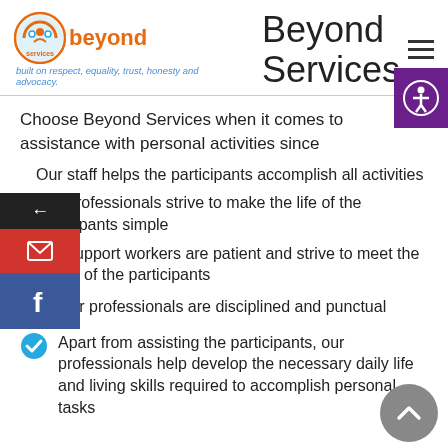[Figure (logo): Beyond Services logo with circular icon showing figures and orange/teal colors, with tagline 'built on respect, equality, trust, honesty and advocacy.']
Beyond Services
Choose Beyond Services when it comes to assistance with personal activities since
Our staff helps the participants accomplish all activities
Our professionals strive to make the life of the participants simple
Our support workers are patient and strive to meet the needs of the participants
Our professionals are disciplined and punctual
Apart from assisting the participants, our professionals help develop the necessary daily life and living skills required to accomplish personal tasks